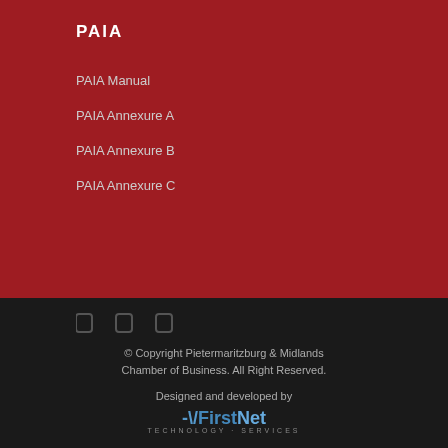PAIA
PAIA Manual
PAIA Annexure A
PAIA Annexure B
PAIA Annexure C
[Figure (illustration): Three social media icon placeholders (Facebook, LinkedIn, Twitter) in dark gray on dark background]
© Copyright Pietermaritzburg & Midlands Chamber of Business. All Right Reserved. Designed and developed by FirstNet Technology Services